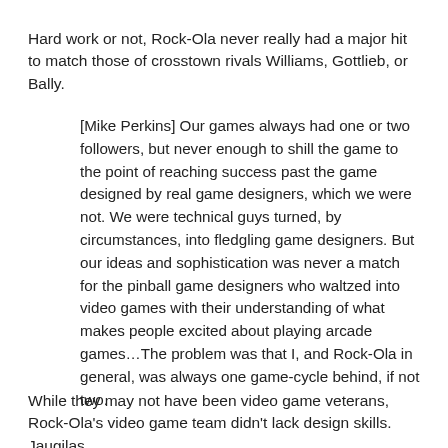Hard work or not, Rock-Ola never really had a major hit to match those of crosstown rivals Williams, Gottlieb, or Bally.
[Mike Perkins] Our games always had one or two followers, but never enough to shill the game to the point of reaching success past the game designed by real game designers, which we were not. We were technical guys turned, by circumstances, into fledgling game designers. But our ideas and sophistication was never a match for the pinball game designers who waltzed into video games with their understanding of what makes people excited about playing arcade games…The problem was that I, and Rock-Ola in general, was always one game-cycle behind, if not two.
While they may not have been video game veterans, Rock-Ola's video game team didn't lack design skills. Jaugilas